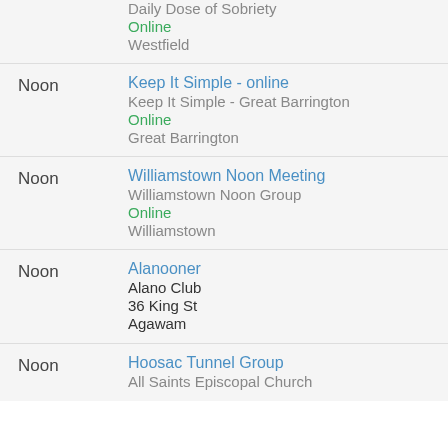Daily Dose of Sobriety
Online
Westfield
Noon
Keep It Simple - online
Keep It Simple - Great Barrington
Online
Great Barrington
Noon
Williamstown Noon Meeting
Williamstown Noon Group
Online
Williamstown
Noon
Alanooner
Alano Club
36 King St
Agawam
Noon
Hoosac Tunnel Group
All Saints Episcopal Church